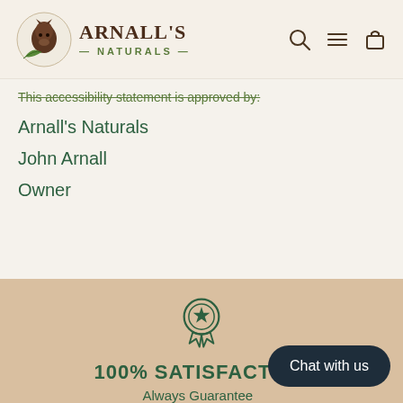[Figure (logo): Arnall's Naturals logo with horse/animal icon and green leaf, brown serif text]
This accessibility statement is approved by:
Arnall's Naturals
John Arnall
Owner
[Figure (illustration): Award ribbon / medal icon with star in green outline style]
100% SATISFACT…
Always Guarantee…
Chat with us